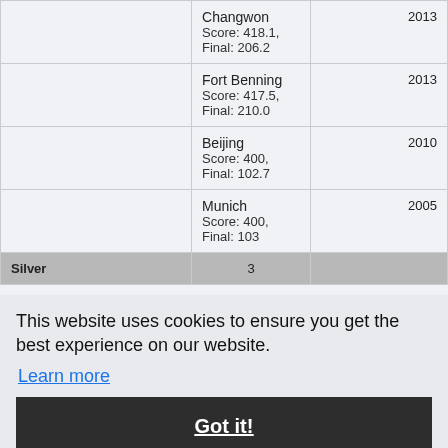|  | Venue / Score | Year |
| --- | --- | --- |
|  | Changwon
Score: 418.1, Final: 206.2 | 2013 |
|  | Fort Benning
Score: 417.5, Final: 210.0 | 2013 |
|  | Beijing
Score: 400, Final: 102.7 | 2010 |
|  | Munich
Score: 400, Final: 103 | 2005 |
| Silver | 3 |  |
This website uses cookies to ensure you get the best experience on our website.
Learn more
Got it!